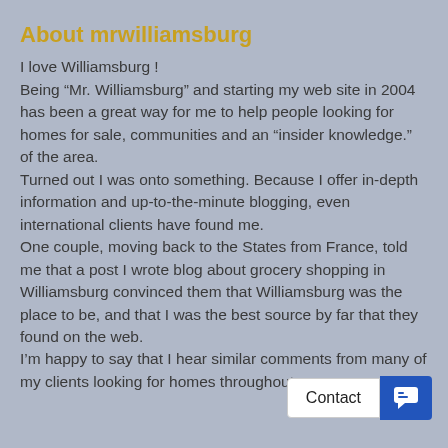About mrwilliamsburg
I love Williamsburg ! Being “Mr. Williamsburg” and starting my web site in 2004 has been a great way for me to help people looking for homes for sale, communities and an “insider knowledge.” of the area. Turned out I was onto something. Because I offer in-depth information and up-to-the-minute blogging, even international clients have found me. One couple, moving back to the States from France, told me that a post I wrote blog about grocery shopping in Williamsburg convinced them that Williamsburg was the place to be, and that I was the best source by far that they found on the web. I’m happy to say that I hear similar comments from many of my clients looking for homes throughout